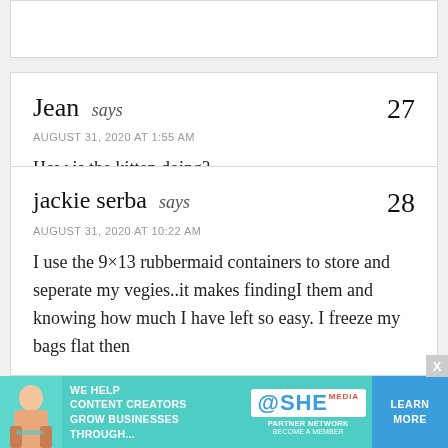Jean says — 27
AUGUST 31, 2020 AT 1:55 AM
How is the kitten doing?
jackie serba says — 28
AUGUST 31, 2020 AT 10:22 AM
I use the 9×13 rubbermaid containers to store and seperate my vegies..it makes findingI them and knowing how much I have left so easy. I freeze my bags flat then
[Figure (infographic): Advertisement banner: SHE Media Partner Network with text 'WE HELP CONTENT CREATORS GROW BUSINESSES THROUGH...' and a LEARN MORE button in blue]